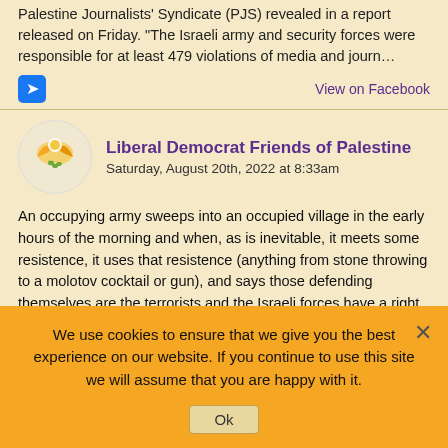Palestine Journalists' Syndicate (PJS) revealed in a report released on Friday. "The Israeli army and security forces were responsible for at least 479 violations of media and journ…
View on Facebook
Liberal Democrat Friends of Palestine
Saturday, August 20th, 2022 at 8:33am
An occupying army sweeps into an occupied village in the early hours of the morning and when, as is inevitable, it meets some resistence, it uses that resistence (anything from stone throwing to a molotov cocktail or gun), and says those defending themselves are the terrorists and the Israeli forces have a right to self-defence. Then, of course, if an innocent man, woman or child is killed during the raid, then that is sad, but reasonable collateral damage…
We use cookies to ensure that we give you the best experience on our website. If you continue to use this site we will assume that you are happy with it.
Ok